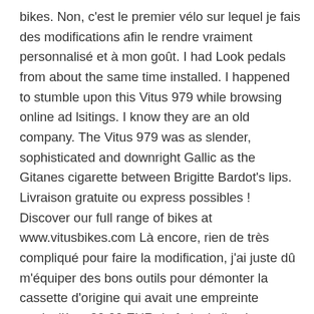bikes. Non, c'est le premier vélo sur lequel je fais des modifications afin le rendre vraiment personnalisé et à mon goût. I had Look pedals from about the same time installed. I happened to stumble upon this Vitus 979 while browsing online ad lsitings. I know they are an old company. The Vitus 979 was as slender, sophisticated and downright Gallic as the Gitanes cigarette between Brigitte Bardot's lips. Livraison gratuite ou express possibles ! Discover our full range of bikes at www.vitusbikes.com Là encore, rien de très compliqué pour faire la modification, j'ai juste dû m'équiper des bons outils pour démonter la cassette d'origine qui avait une empreinte particulière. 20,00 EUR de frais de livraison. Vitus 979 singlespeed Aluminium Bike rh56 - 8.5 kg. The handlebars are Cinelli Colorado aluminum bars. This bike was from a German online bicycle museum site Rembetis- Historische Fahrrader. 777,77 EUR. Les aides pour l'achat d'un vélo électrique, Benur vélo pour personnes à mobilité réduite, Bonobo Plywood Bicycle,